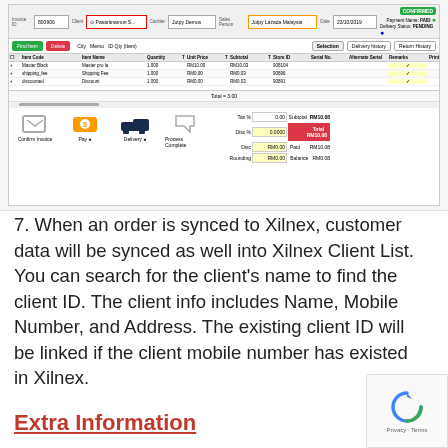[Figure (screenshot): Screenshot of a point-of-sale/invoice software (Xilnex) showing an invoice #800906 with items: Master Black, Shipping Fee, Discount. Payment name: PAID, Delivery Status: PENDING. Total: RM10.08. Action buttons: Confirm Invoice, Pay, Delivery, Process Complete.]
7. When an order is synced to Xilnex, customer data will be synced as well into Xilnex Client List. You can search for the client's name to find the client ID. The client info includes Name, Mobile Number, and Address. The existing client ID will be linked if the client mobile number has existed in Xilnex.
Extra Information